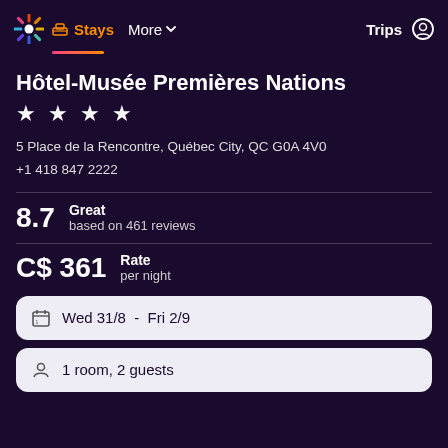Stays  More  Trips
Hôtel-Musée Premières Nations
★ ★ ★ ★
5 Place de la Rencontre, Québec City, QC G0A 4V0
+1 418 847 2222
8.7  Great  based on 461 reviews
C$ 361  Rate  per night
Wed 31/8  -  Fri 2/9
1 room, 2 guests